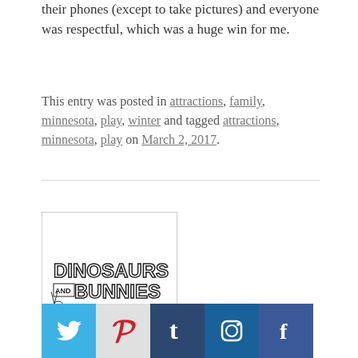their phones (except to take pictures) and everyone was respectful, which was a huge win for me.
This entry was posted in attractions, family, minnesota, play, winter and tagged attractions, minnesota, play on March 2, 2017.
[Figure (logo): Dinosaurs and Bunnies blog logo — cartoon lettering with bunny illustration]
[Figure (other): Social media sharing buttons: Twitter (blue), Pinterest (gray/red), Tumblr (dark blue), Instagram (blue), Facebook (dark blue)]